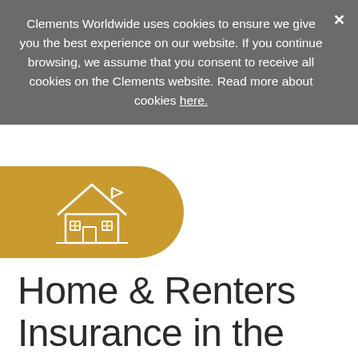Clements Worldwide uses cookies to ensure we give you the best experience on our website. If you continue browsing, we assume that you consent to receive all cookies on the Clements website. Read more about cookies here.
[Figure (illustration): Gold rounded pill shape with white outline house/home icon]
Home & Renters Insurance in the United States
Do you own a home, a condo, rent, or are you a landlord? Protect your home and its contents, saving you from costly repairs, losses, and personal